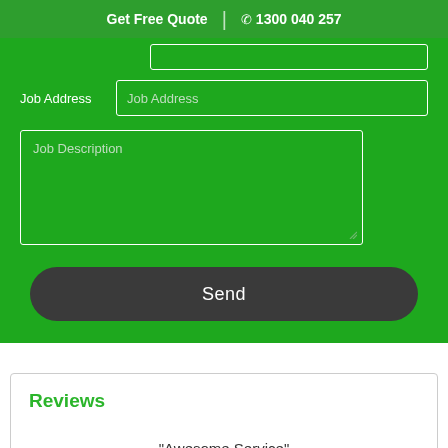Get Free Quote | 1300 040 257
[Figure (screenshot): Web form with green background showing Job Address input field, Job Description textarea, and Send button]
Reviews
"Awesome Service"